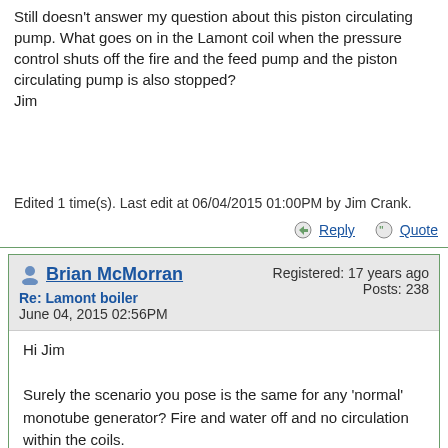Still doesn't answer my question about this piston circulating pump. What goes on in the Lamont coil when the pressure control shuts off the fire and the feed pump and the piston circulating pump is also stopped?
Jim
Edited 1 time(s). Last edit at 06/04/2015 01:00PM by Jim Crank.
Reply   Quote
Brian McMorran
Re: Lamont boiler
June 04, 2015 02:56PM
Registered: 17 years ago
Posts: 238
Hi Jim

Surely the scenario you pose is the same for any 'normal' monotube generator? Fire and water off and no circulation within the coils.

I'm not necessarily supporting this design but intrigued that it...